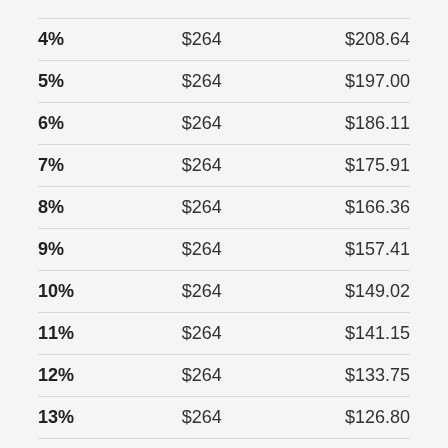| 4% | $264 | $208.64 |
| 5% | $264 | $197.00 |
| 6% | $264 | $186.11 |
| 7% | $264 | $175.91 |
| 8% | $264 | $166.36 |
| 9% | $264 | $157.41 |
| 10% | $264 | $149.02 |
| 11% | $264 | $141.15 |
| 12% | $264 | $133.75 |
| 13% | $264 | $126.80 |